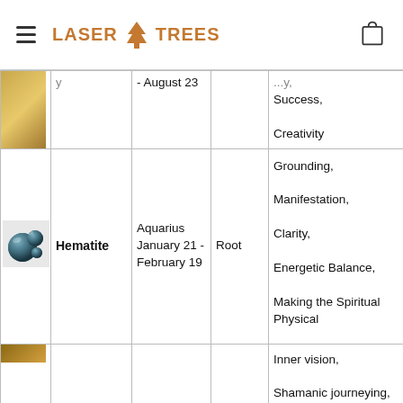Laser Trees — navigation header with hamburger menu and shopping bag icon
| Image | Stone | Zodiac | Chakra | Properties |
| --- | --- | --- | --- | --- |
| [image] |  | - August 23 |  | ...y, Success, Creativity |
| [hematite image] | Hematite | Aquarius January 21 - February 19 | Root | Grounding, Manifestation, Clarity, Energetic Balance, Making the Spiritual Physical |
| [image] |  | Throat, Third |  | Inner vision, Shamanic journeying, soul retrieval, |